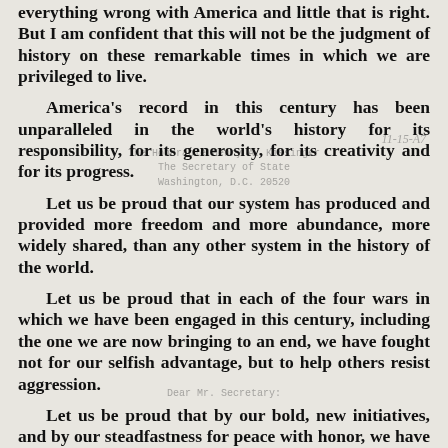everything wrong with America and little that is right. But I am confident that this will not be the judgment of history on these remarkable times in which we are privileged to live.
America's record in this century has been unparalleled in the world's history for its responsibility, for its generosity, for its creativity and for its progress.
Let us be proud that our system has produced and provided more freedom and more abundance, more widely shared, than any other system in the history of the world.
Let us be proud that in each of the four wars in which we have been engaged in this century, including the one we are now bringing to an end, we have fought not for our selfish advantage, but to help others resist aggression.
Let us be proud that by our bold, new initiatives, and by our steadfastness for peace with honor, we have made a break through toward creating in the world what